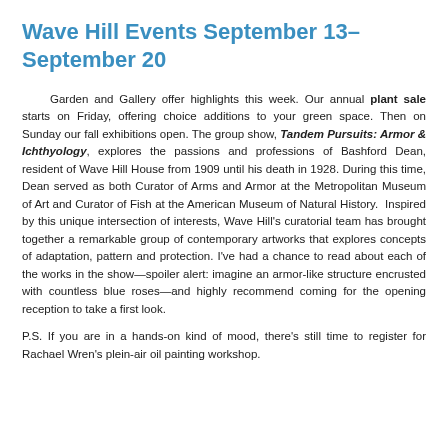Wave Hill Events September 13–September 20
Garden and Gallery offer highlights this week. Our annual plant sale starts on Friday, offering choice additions to your green space. Then on Sunday our fall exhibitions open. The group show, Tandem Pursuits: Armor & Ichthyology, explores the passions and professions of Bashford Dean, resident of Wave Hill House from 1909 until his death in 1928. During this time, Dean served as both Curator of Arms and Armor at the Metropolitan Museum of Art and Curator of Fish at the American Museum of Natural History. Inspired by this unique intersection of interests, Wave Hill's curatorial team has brought together a remarkable group of contemporary artworks that explores concepts of adaptation, pattern and protection. I've had a chance to read about each of the works in the show—spoiler alert: imagine an armor-like structure encrusted with countless blue roses—and highly recommend coming for the opening reception to take a first look.
P.S. If you are in a hands-on kind of mood, there's still time to register for Rachael Wren's plein-air oil painting workshop.